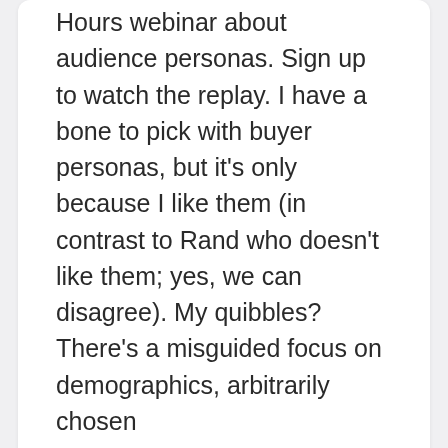Hours webinar about audience personas. Sign up to watch the replay. I have a bone to pick with buyer personas, but it's only because I like them (in contrast to Rand who doesn't like them; yes, we can disagree). My quibbles? There's a misguided focus on demographics, arbitrarily chosen
Read More →
3 Comments
Hiring  Psychology  SparkToro